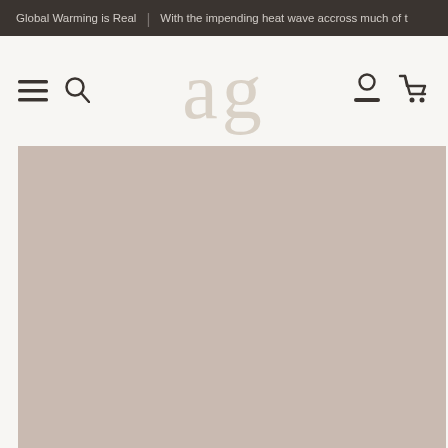Global Warming is Real | With the impending heat wave accross much of t
[Figure (logo): ag logo in large light beige serif letters centered in navigation bar]
[Figure (photo): Large beige/taupe colored rectangular hero image area]